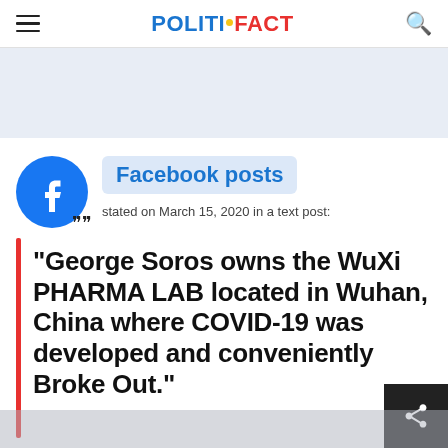POLITIFACT
[Figure (logo): Facebook logo circle icon (blue circle with white 'f')]
Facebook posts
stated on March 15, 2020 in a text post:
"George Soros owns the WuXi PHARMA LAB located in Wuhan, China where COVID-19 was developed and conveniently Broke Out."